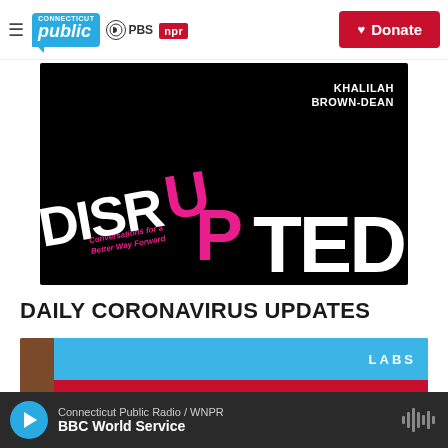Connecticut Public | PBS | NPR | Donate
[Figure (illustration): DISRUPTED podcast cover art. Black background with bold white text 'DISRU' and 'TED', a large pink/magenta 'U' and 'P' connecting the words, italic text 'Conversations for a Better Way Forward', and author name 'KHALILAH BROWN-DEAN' in white.]
DAILY CORONAVIRUS UPDATES
[Figure (photo): Photo of a COVID-19 testing site with a blue tent and a red sign reading 'COVID-19 TESTING']
Connecticut Public Radio / WNPR | BBC World Service